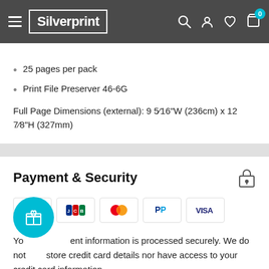Silverprint
25 pages per pack
Print File Preserver 46-6G
Full Page Dimensions (external): 9 5/16"W (236cm) x 12 7/8"H (327mm)
Payment & Security
[Figure (logo): Payment method icons: Diners Club, JCB, Mastercard, PayPal, Visa]
Your payment information is processed securely. We do not store credit card details nor have access to your credit card information.